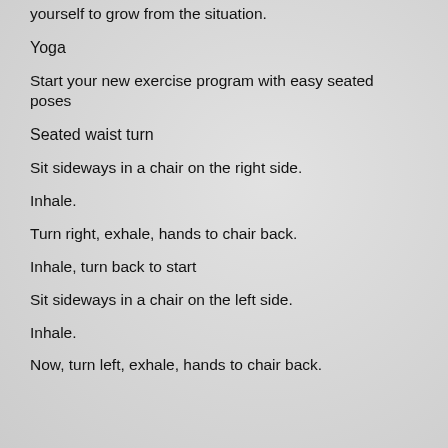yourself to grow from the situation.
Yoga
Start your new exercise program with easy seated poses
Seated waist turn
Sit sideways in a chair on the right side.
Inhale.
Turn right, exhale, hands to chair back.
Inhale, turn back to start
Sit sideways in a chair on the left side.
Inhale.
Now, turn left, exhale, hands to chair back.